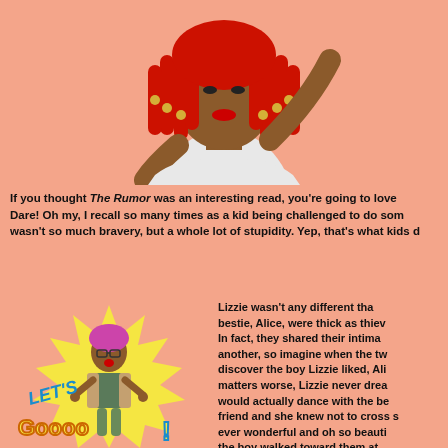[Figure (illustration): Cartoon illustration of a woman with red braided hair and gold accessories, wearing a white top, with one arm raised, cropped at the top of the page on a salmon/peach background.]
If you thought The Rumor was an interesting read, you're going to love Dare! Oh my, I recall so many times as a kid being challenged to do some wasn't so much bravery, but a whole lot of stupidity. Yep, that's what kids d
[Figure (illustration): Cartoon illustration showing a boy character with pink hair and glasses, with a 'Let's Goooo!' comic-style text graphic with yellow starburst background and blue/yellow lettering.]
Lizzie wasn't any different tha bestie, Alice, were thick as thiev In fact, they shared their intima another, so imagine when the tw discover the boy Lizzie liked, Ali matters worse, Lizzie never drea would actually dance with the be friend and she knew not to cross s ever wonderful and oh so beauti the boy walked toward them at Alice happily grabbed his han